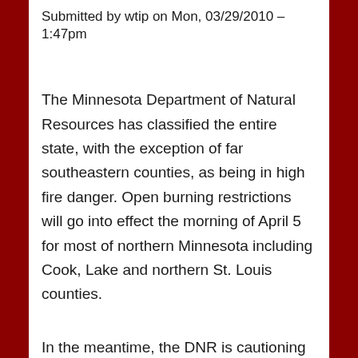Submitted by wtip on Mon, 03/29/2010 – 1:47pm
The Minnesota Department of Natural Resources has classified the entire state, with the exception of far southeastern counties, as being in high fire danger. Open burning restrictions will go into effect the morning of April 5 for most of northern Minnesota including Cook, Lake and northern St. Louis counties.
In the meantime, the DNR is cautioning that open fires under existing conditions are very dangerous, despite recent rainfall. Although campfires do not require a burning permit, they must always be attended and kept to 3 feet in diameter.